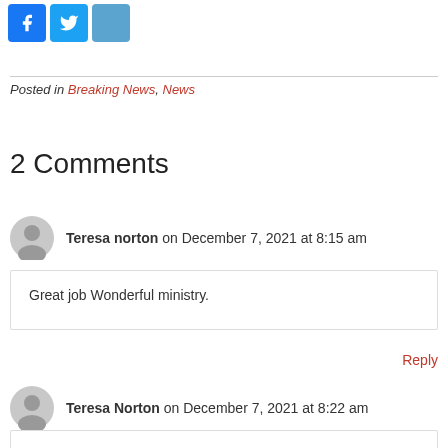[Figure (other): Social sharing icons: Facebook (blue), Twitter (blue), and a share/plus button (teal-blue)]
Posted in Breaking News, News
2 Comments
Teresa norton on December 7, 2021 at 8:15 am
Great job Wonderful ministry.
Reply
Teresa Norton on December 7, 2021 at 8:22 am